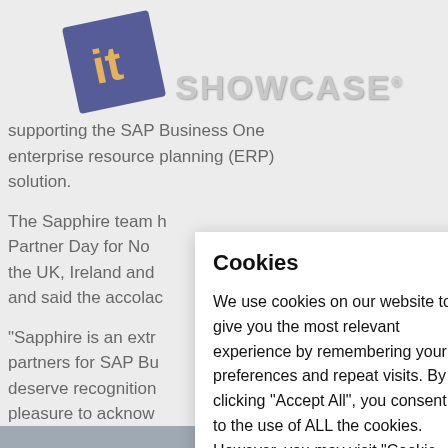[Figure (logo): IT Showcase logo: blue tilted square with orange 'it' text, followed by 'SHOWCASE®' in large grey letters]
supporting the SAP Business One enterprise resource planning (ERP) solution.
The Sapphire team ... Partner Day for No... the UK, Ireland and ... and said the accolad...
"Sapphire is an extr... partners for SAP Bu... deserve recognition... pleasure to acknow... award."
Cookies
We use cookies on our website to give you the most relevant experience by remembering your preferences and repeat visits. By clicking "Accept All", you consent to the use of ALL the cookies. However, you may visit "Cookie Settings" to provide a controlled consent.
Cookie Settings | Accept All